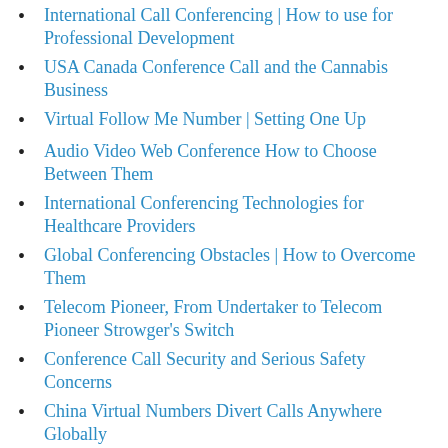International Call Conferencing | How to use for Professional Development
USA Canada Conference Call and the Cannabis Business
Virtual Follow Me Number | Setting One Up
Audio Video Web Conference How to Choose Between Them
International Conferencing Technologies for Healthcare Providers
Global Conferencing Obstacles | How to Overcome Them
Telecom Pioneer, From Undertaker to Telecom Pioneer Strowger's Switch
Conference Call Security and Serious Safety Concerns
China Virtual Numbers Divert Calls Anywhere Globally